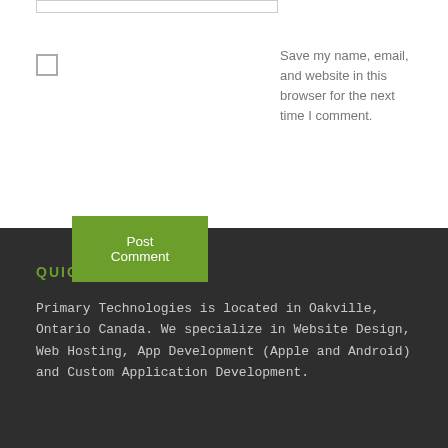Save my name, email, and website in this browser for the next time I comment.
Post Comment
QUICK ABOUT US
Primary Technologies is located in Oakville, Ontario Canada. We specialize in Website Design, Web Hosting, App Development (Apple and Android) and Custom Application Development.